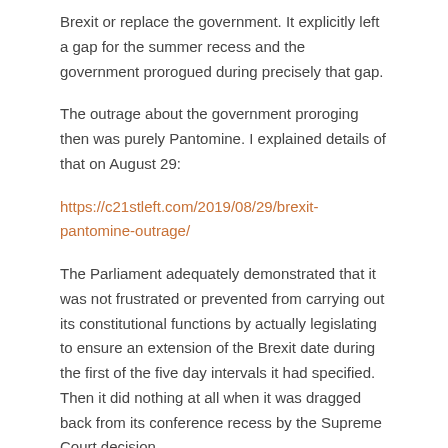Brexit or replace the government. It explicitly left a gap for the summer recess and the government prorogued during precisely that gap.
The outrage about the government proroging then was purely Pantomine. I explained details of that on August 29:
https://c21stleft.com/2019/08/29/brexit-pantomine-outrage/
The Parliament adequately demonstrated that it was not frustrated or prevented from carrying out its constitutional functions by actually legislating to ensure an extension of the Brexit date during the first of the five day intervals it had specified. Then it did nothing at all when it was dragged back from its conference recess by the Supreme Court decision.
The Supreme Court simply ignored the facts presented in open court. I assume it knew of the other facts about an attempt to seize power by frustrating the FtPA.